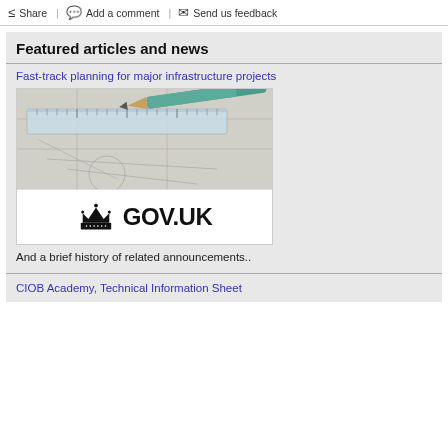Share | Add a comment | Send us feedback
Featured articles and news
Fast-track planning for major infrastructure projects
[Figure (screenshot): Composite image: top half shows a photo of pencil and ruler on architectural drawings; bottom half shows the GOV.UK crown logo and text GOV.UK]
And a brief history of related announcements..
CIOB Academy, Technical Information Sheet